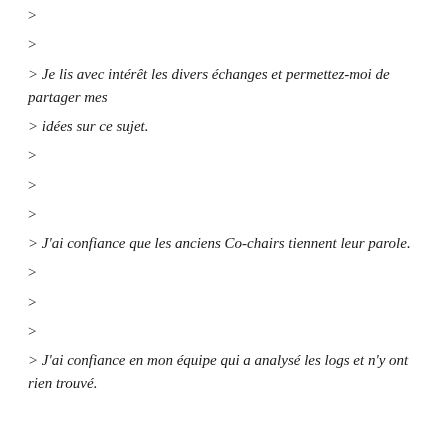>
>
> Je lis avec intérêt les divers échanges et permettez-moi de partager mes
> idées sur ce sujet.
>
>
>
> J'ai confiance que les anciens Co-chairs tiennent leur parole.
>
>
>
> J'ai confiance en mon équipe qui a analysé les logs et n'y ont rien trouvé.